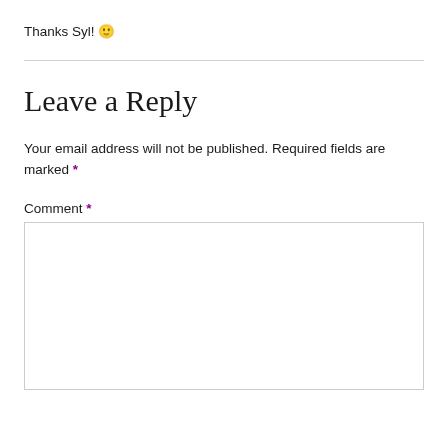Thanks Syl! 🙂
Leave a Reply
Your email address will not be published. Required fields are marked *
Comment *